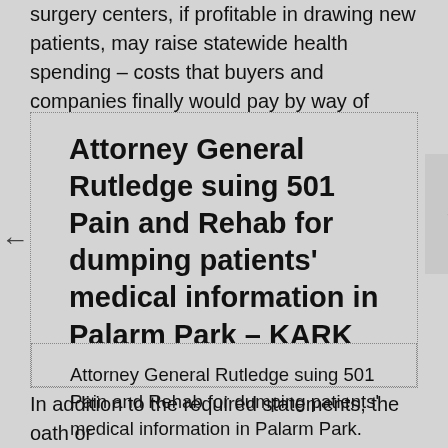surgery centers, if profitable in drawing new patients, may raise statewide health spending – costs that buyers and companies finally would pay by way of insurance premiums.
Attorney General Rutledge suing 501 Pain and Rehab for dumping patients' medical information in Palarm Park – KARK
Attorney General Rutledge suing 501 Pain and Rehab for dumping patients' medical information in Palarm Park.
Posted: Thu, 06 May 2021 22:19:13 GMT [source]
In addition to the required statements, the oath or